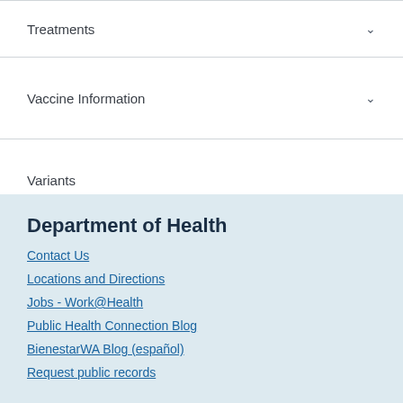Treatments
Vaccine Information
Variants
WA Notify
Department of Health
Contact Us
Locations and Directions
Jobs - Work@Health
Public Health Connection Blog
BienestarWA Blog (español)
Request public records